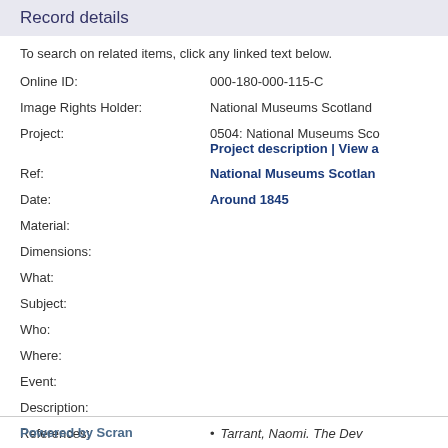Record details
To search on related items, click any linked text below.
| Field | Value |
| --- | --- |
| Online ID: | 000-180-000-115-C |
| Image Rights Holder: | National Museums Scotland |
| Project: | 0504: National Museums Sco… Project description | View a |
| Ref: | National Museums Scotlan… |
| Date: | Around 1845 |
| Material: |  |
| Dimensions: |  |
| What: |  |
| Subject: |  |
| Who: |  |
| Where: |  |
| Event: |  |
| Description: |  |
| References: | Tarrant, Naomi. The Dev… |
| Translations: |  |
| Related Records: |  |
Powered by Scran